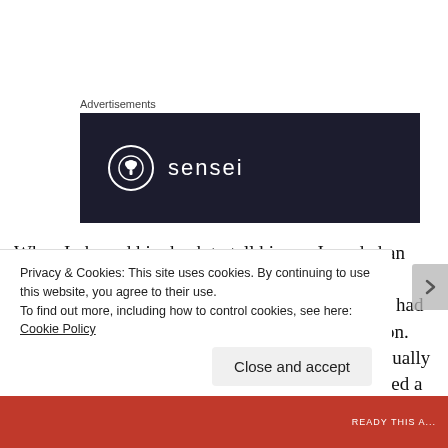Advertisements
[Figure (logo): Sensei brand advertisement banner with dark navy background, circular tree logo, and 'sensei' text in white]
When I phoned him back to tell him no I needed an English speaking neurologist, he told me I should consider seeing a rheumatologist instead...as if he had had a brainwave about treating the whole condition. Only after I was quite firm with him, did he eventually agree to look at neurologists. He then again emailed a google search of neurologists without any
Privacy & Cookies: This site uses cookies. By continuing to use this website, you agree to their use.
To find out more, including how to control cookies, see here: Cookie Policy
Close and accept